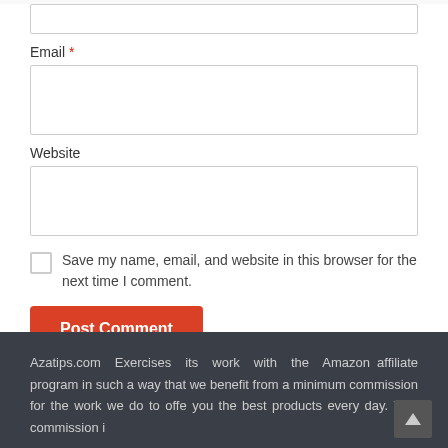Email *
Website
Save my name, email, and website in this browser for the next time I comment.
Post Comment
Azatips.com Exercises its work with the Amazon affiliate program in such a way that we benefit from a minimum commission for the work we do to offe you the best products every day. This commission i